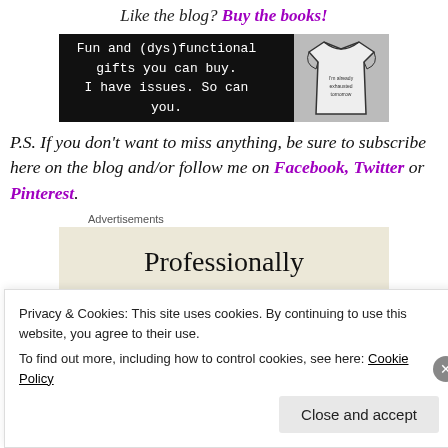Like the blog? Buy the books!
[Figure (photo): Advertisement banner with black background showing text 'Fun and (dys)functional gifts you can buy. I have issues. So can you.' alongside a white t-shirt with text.]
P.S. If you don't want to miss anything, be sure to subscribe here on the blog and/or follow me on Facebook, Twitter or Pinterest.
Advertisements
[Figure (photo): Advertisement showing text 'Professionally' on a beige/cream background]
Privacy & Cookies: This site uses cookies. By continuing to use this website, you agree to their use.
To find out more, including how to control cookies, see here: Cookie Policy
Close and accept